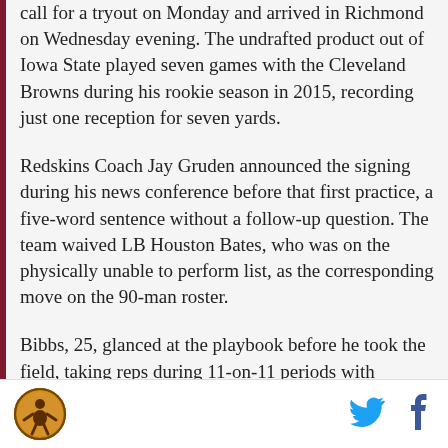call for a tryout on Monday and arrived in Richmond on Wednesday evening. The undrafted product out of Iowa State played seven games with the Cleveland Browns during his rookie season in 2015, recording just one reception for seven yards.
Redskins Coach Jay Gruden announced the signing during his news conference before that first practice, a five-word sentence without a follow-up question. The team waived LB Houston Bates, who was on the physically unable to perform list, as the corresponding move on the 90-man roster.
Bibbs, 25, glanced at the playbook before he took the field, taking reps during 11-on-11 periods with players that have had at least an entire offseason in
[Figure (logo): Circular sports team logo with a stylized figure, gold and brown colors]